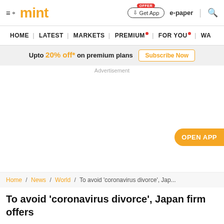mint
HOME | LATEST | MARKETS | PREMIUM | FOR YOU | WA
Upto 20% off* on premium plans Subscribe Now
Advertisement
OPEN APP
Home / News / World / To avoid 'coronavirus divorce', Jap...
To avoid 'coronavirus divorce', Japan firm offers